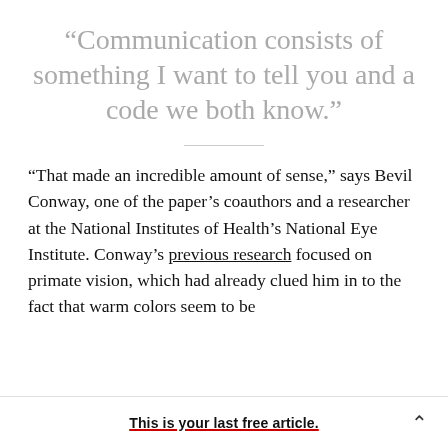“Communication consists of something I want to tell you and a code we both know.”
“That made an incredible amount of sense,” says Bevil Conway, one of the paper’s coauthors and a researcher at the National Institutes of Health’s National Eye Institute. Conway’s previous research focused on primate vision, which had already clued him in to the fact that warm colors seem to be
This is your last free article.